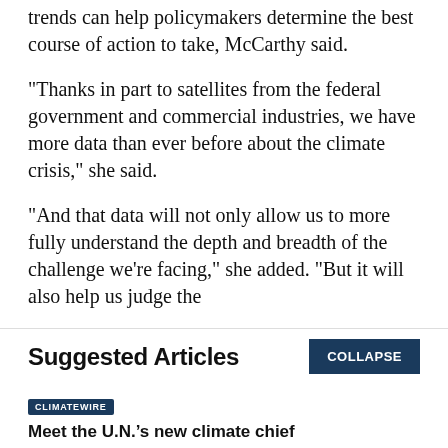trends can help policymakers determine the best course of action to take, McCarthy said.
“Thanks in part to satellites from the federal government and commercial industries, we have more data than ever before about the climate crisis,” she said.
“And that data will not only allow us to more fully understand the depth and breadth of the challenge we’re facing,” she added. “But it will also help us judge the
Suggested Articles
COLLAPSE
CLIMATEWIRE
Meet the U.N.’s new climate chief
BY Sara Schonhardt | 08/29/2022 02:00 PM EDT
Read More >>
CLIMATEWIRE
With prices soaring, natural gas faces uncertain future